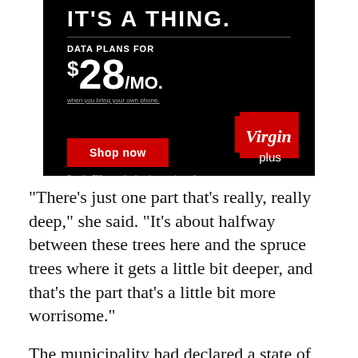[Figure (advertisement): Virgin Plus mobile advertisement on black background. Text reads 'IT'S A THING.' followed by 'DATA PLANS FOR $28/MO.' with 'when you bring your own phone.' underlined below. Red 'Shop now' button on left. Virgin plus logo (red box with cursive Virgin and 'plus' below) on right. Footer text: 'Save the $50 connection fee when you shop online.']
"There's just one part that's really, really deep," she said. "It's about halfway between these trees here and the spruce trees where it gets a little bit deeper, and that's the part that's a little bit more worrisome."
The municipality had declared a state of local emergency in April due to rising flood waters,